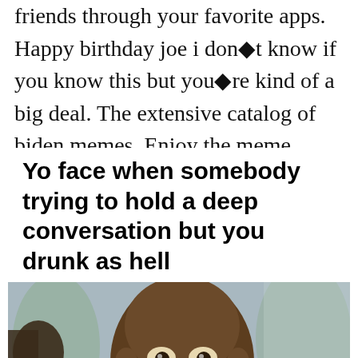friends through your favorite apps. Happy birthday joe i don�t know if you know this but you�re kind of a big deal. The extensive catalog of biden memes. Enjoy the meme �president joe� uploaded by mvj96.
[Figure (illustration): Meme image with bold text reading 'Yo face when somebody trying to hold a deep conversation but you drunk as hell' above a close-up photo of a man with a blank/confused expression]